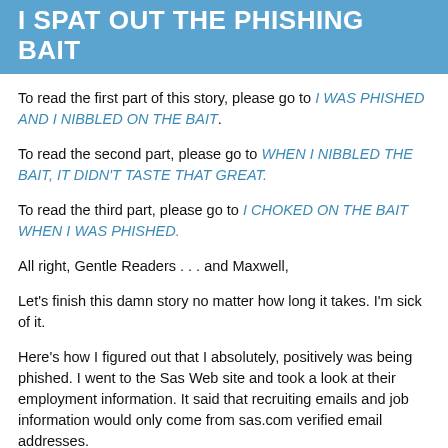I SPAT OUT THE PHISHING BAIT
To read the first part of this story, please go to I WAS PHISHED AND I NIBBLED ON THE BAIT.
To read the second part, please go to WHEN I NIBBLED THE BAIT, IT DIDN'T TASTE THAT GREAT.
To read the third part, please go to I CHOKED ON THE BAIT WHEN I WAS PHISHED.
All right, Gentle Readers . . . and Maxwell,
Let's finish this damn story no matter how long it takes. I'm sick of it.
Here's how I figured out that I absolutely, positively was being phished. I went to the Sas Web site and took a look at their employment information. It said that recruiting emails and job information would only come from sas.com verified email addresses.